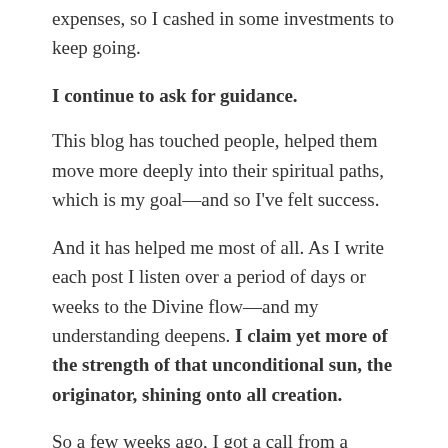expenses, so I cashed in some investments to keep going.
I continue to ask for guidance.
This blog has touched people, helped them move more deeply into their spiritual paths, which is my goal—and so I've felt success.
And it has helped me most of all. As I write each post I listen over a period of days or weeks to the Divine flow—and my understanding deepens. I claim yet more of the strength of that unconditional sun, the originator, shining onto all creation.
So a few weeks ago, I got a call from a notable photographer who has read my travel writing and recently my blog. He asked me to collaborate with him on a book which he has written, a record of